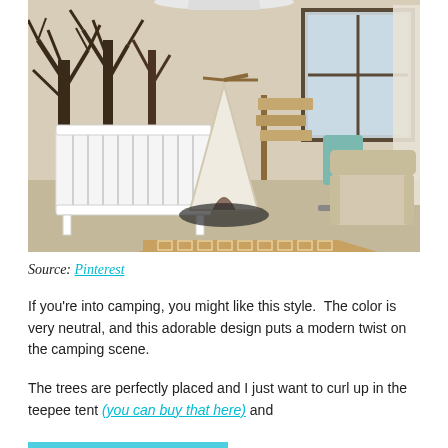[Figure (photo): A nursery room with a camping/woodland theme. Features a white crib on the left, tree murals painted on the wall, a white teepee tent in the center, a wooden directional sign, a patterned geometric rug on the floor, a beige armchair on the right, and a window with natural light.]
Source: Pinterest
If you're into camping, you might like this style.  The color is very neutral, and this adorable design puts a modern twist on the camping scene.
The trees are perfectly placed and I just want to curl up in the teepee tent (you can buy that here) and